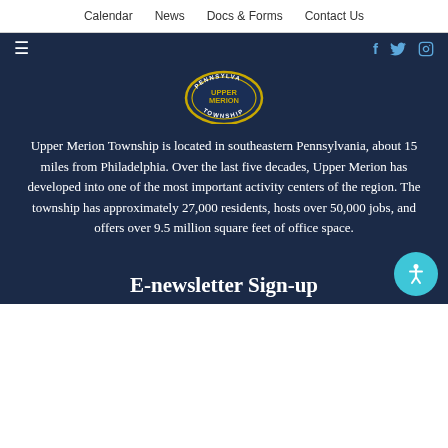Calendar  News  Docs & Forms  Contact Us
[Figure (logo): Upper Merion Township seal/logo — circular badge with text PENNSYLVANIA TOWNSHIP and gold/navy coloring]
Upper Merion Township is located in southeastern Pennsylvania, about 15 miles from Philadelphia. Over the last five decades, Upper Merion has developed into one of the most important activity centers of the region. The township has approximately 27,000 residents, hosts over 50,000 jobs, and offers over 9.5 million square feet of office space.
E-newsletter Sign-up